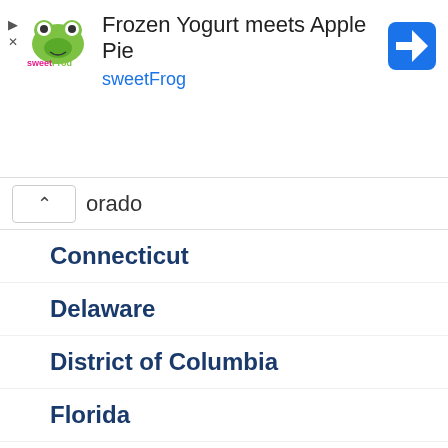[Figure (screenshot): SweetFrog advertisement banner with logo, text 'Frozen Yogurt meets Apple Pie' and 'sweetFrog', and a blue navigation icon]
orado
Connecticut
Delaware
District of Columbia
Florida
Georgia
Hawaii
Idaho
Illinois